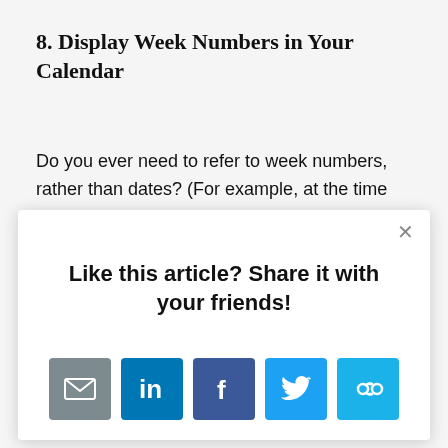8. Display Week Numbers in Your Calendar
Do you ever need to refer to week numbers, rather than dates? (For example, at the time of writing we are in week 14, which runs from
[Figure (screenshot): A modal popup overlay with the text 'Like this article? Share it with your friends!' and five social sharing icon buttons: email (grey), LinkedIn (blue), Facebook (dark blue), Twitter (light blue), and a link/share icon (light blue). A close X button appears in the top-right corner.]